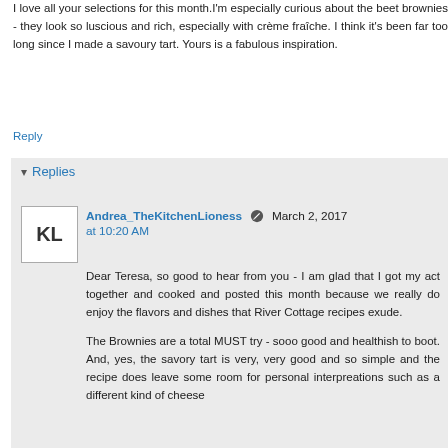I love all your selections for this month.I'm especially curious about the beet brownies - they look so luscious and rich, especially with crème fraîche. I think it's been far too long since I made a savoury tart. Yours is a fabulous inspiration.
Reply
Replies
Andrea_TheKitchenLioness  March 2, 2017 at 10:20 AM
Dear Teresa, so good to hear from you - I am glad that I got my act together and cooked and posted this month because we really do enjoy the flavors and dishes that River Cottage recipes exude.
The Brownies are a total MUST try - sooo good and healthish to boot. And, yes, the savory tart is very, very good and so simple and the recipe does leave some room for personal interpreations such as a different kind of cheese